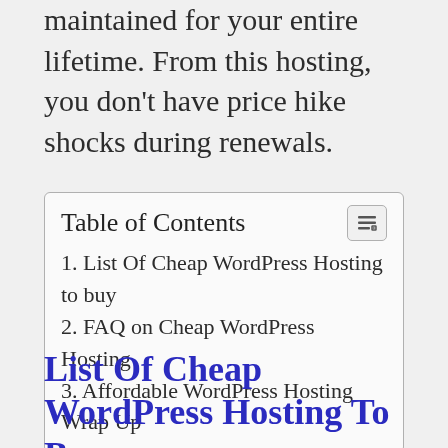maintained for your entire lifetime. From this hosting, you don't have price hike shocks during renewals.
| Table of Contents |
| --- |
| 1. List Of Cheap WordPress Hosting to buy |
| 2. FAQ on Cheap WordPress Hosting |
| 3. Affordable WordPress Hosting Wrap Up |
List Of Cheap WordPress Hosting To Buy